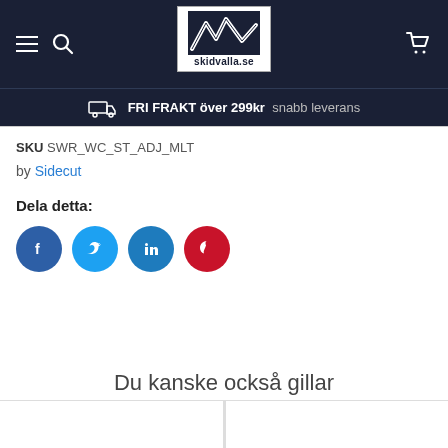skidvalla.se — navigation header with hamburger menu, search, logo, and cart icon
FRI FRAKT över 299kr  snabb leverans
SKU SWR_WC_ST_ADJ_MLT
by Sidecut
Dela detta:
[Figure (other): Social share buttons: Facebook (blue circle), Twitter (light blue circle), LinkedIn (teal circle), Pinterest (red circle)]
Du kanske också gillar
[Figure (other): Two product card placeholders side by side at bottom of page]